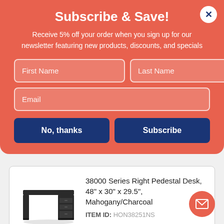Subscribe & Save!
Receive 5% off your order when you sign up for our newsletter featuring new products, discounts, and specials
First Name | Last Name | Email (form fields)
No, thanks | Subscribe (buttons)
38000 Series Right Pedestal Desk, 48" x 30" x 29.5", Mahogany/Charcoal
ITEM ID: HON38251NS
$1,053.51 EA
Qty  1  Add to Cart